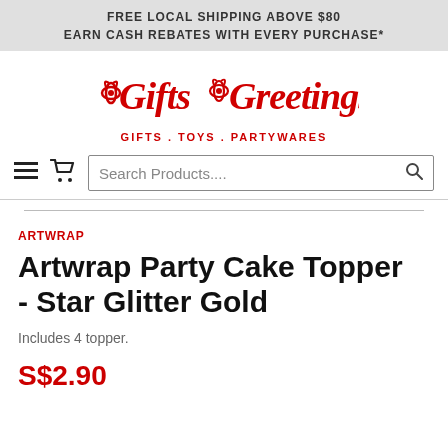FREE LOCAL SHIPPING ABOVE $80
EARN CASH REBATES WITH EVERY PURCHASE*
[Figure (logo): Gifts Greetings logo — red italic serif script text with small gift bow icon between words, tagline: GIFTS . TOYS . PARTYWARES]
[Figure (screenshot): Search bar row with hamburger menu icon, shopping cart icon, and search input field reading 'Search Products....' with a magnifying glass icon on the right]
ARTWRAP
Artwrap Party Cake Topper - Star Glitter Gold
Includes 4 topper.
S$2.90